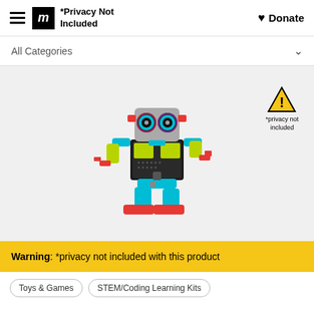*Privacy Not Included | Donate
All Categories
[Figure (photo): Colorful toy robot kit with glowing eyes, red feet, yellow-green body panels, blue and black accents, in a dynamic pose. A warning badge with exclamation mark triangle reads '*privacy not included'.]
Warning: *privacy not included with this product
Toys & Games
STEM/Coding Learning Kits